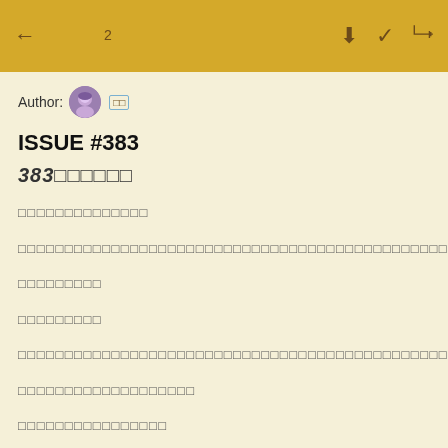← 〇〇〇〇2〇 〇〇〇〇〇
Author: [avatar] 〇〇
ISSUE #383
383〇〇〇〇〇〇
〇〇〇〇〇〇〇〇〇〇〇〇〇〇
〇〇〇〇〇〇〇〇〇〇〇〇〇〇〇〇〇〇〇〇〇〇〇〇〇〇〇〇〇〇〇〇〇〇〇〇〇〇〇〇〇〇〇〇〇〇〇〇〇〇〇〇〇〇〇〇〇〇〇
〇〇〇〇〇〇〇〇〇
〇〇〇〇〇〇〇〇〇
〇〇〇〇〇〇〇〇〇〇〇〇〇〇〇〇〇〇〇〇〇〇〇〇〇〇〇〇〇〇〇〇〇〇〇〇〇〇〇〇〇〇〇〇〇〇〇
〇〇〇〇〇〇〇〇〇〇〇〇〇〇〇〇〇〇〇
〇〇〇〇〇〇〇〇〇〇〇〇〇〇〇〇